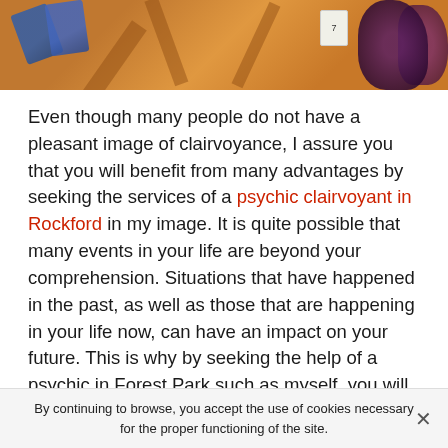[Figure (photo): Top banner image showing a colorful scene with tarot/playing cards on an orange/brown textured surface and dark purple flowers on the right side.]
Even though many people do not have a pleasant image of clairvoyance, I assure you that you will benefit from many advantages by seeking the services of a psychic clairvoyant in Rockford in my image. It is quite possible that many events in your life are beyond your comprehension. Situations that have happened in the past, as well as those that are happening in your life now, can have an impact on your future. This is why by seeking the help of a psychic in Forest Park such as myself, you will be guaranteed to find peace of mind in all aspects of your life in order to identify the various obscure or misunderstood situations you are going through.
It is not easy to find a trusted psychic in Forest Park. Many
By continuing to browse, you accept the use of cookies necessary for the proper functioning of the site.